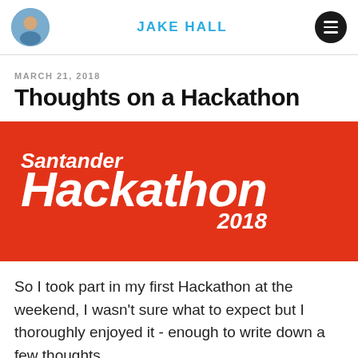JAKE HALL
MARCH 21, 2018
Thoughts on a Hackathon
[Figure (logo): Santander Hackathon 2018 banner — red background with white italic bold text reading 'Santander' on top and 'Hackathon 2018' large below]
So I took part in my first Hackathon at the weekend, I wasn't sure what to expect but I thoroughly enjoyed it - enough to write down a few thoughts.